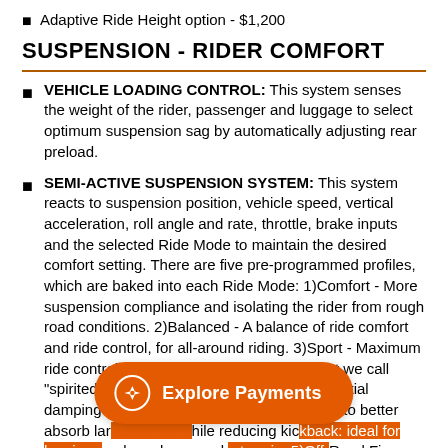Adaptive Ride Height option - $1,200
SUSPENSION - RIDER COMFORT
VEHICLE LOADING CONTROL: This system senses the weight of the rider, passenger and luggage to select optimum suspension sag by automatically adjusting rear preload.
SEMI-ACTIVE SUSPENSION SYSTEM: This system reacts to suspension position, vehicle speed, vertical acceleration, roll angle and rate, throttle, brake inputs and the selected Ride Mode to maintain the desired comfort setting. There are five pre-programmed profiles, which are baked into each Ride Mode: 1)Comfort - More suspension compliance and isolating the rider from rough road conditions. 2)Balanced - A balance of ride comfort and ride control, for all-around riding. 3)Sport - Maximum ride control with higher damping rates - what we call "spirited riding". 4)Off-Road Soft - Reduced initial damping to increase suspension compliance to better absorb large bumps while reducing kickback: ideal for logging roads and very rocky terrain. 5)Off-Road Firm - Increased initial damping for aggressive
[Figure (other): Orange 'Explore Payments' button overlay with compass icon]